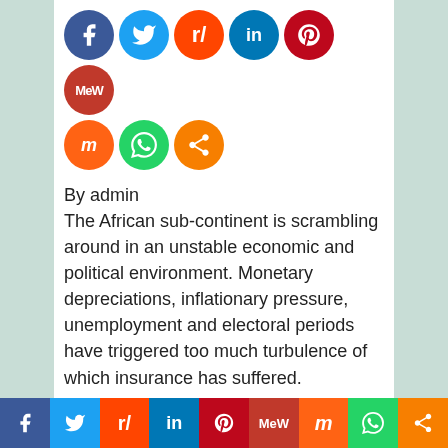[Figure (other): Social media share icons row 1: Facebook, Twitter, Reddit, LinkedIn, Pinterest, MeWe]
[Figure (other): Social media share icons row 2: Mix, WhatsApp, Share]
By admin
The African sub-continent is scrambling around in an unstable economic and political environment. Monetary depreciations, inflationary pressure, unemployment and electoral periods have triggered too much turbulence of which insurance has suffered.
Nevertheless, some African economies remain sufficiently dynamic to generate growth. That is in particular the case of the Eastern part of the continent where we note that GDP growth rate is set around 6
[Figure (other): Bottom social media sharing bar: Facebook, Twitter, Reddit, LinkedIn, Pinterest, MeWe, Mix, WhatsApp, Share]